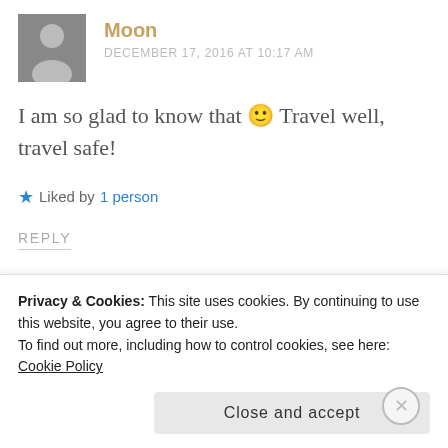Moon
DECEMBER 17, 2016 AT 10:17 AM
I am so glad to know that 🙂 Travel well, travel safe!
★ Liked by 1 person
REPLY
theswathilife
Privacy & Cookies: This site uses cookies. By continuing to use this website, you agree to their use.
To find out more, including how to control cookies, see here: Cookie Policy
Close and accept